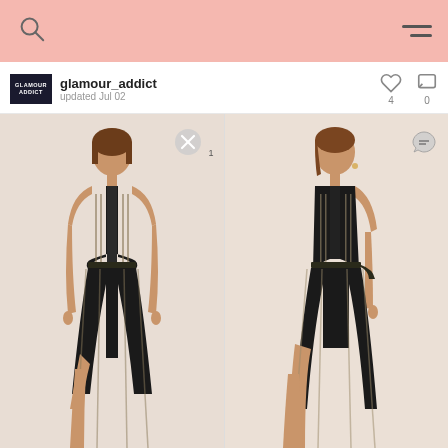glamour_addict - updated Jul 02
[Figure (screenshot): Screenshot of a fashion wishlist/collection page showing profile 'glamour_addict' updated Jul 02, with heart (4 likes) and comment (0) icons, displaying two product images of models wearing black striped sleeveless maxi dresses with high slit, shown from front and side angles.]